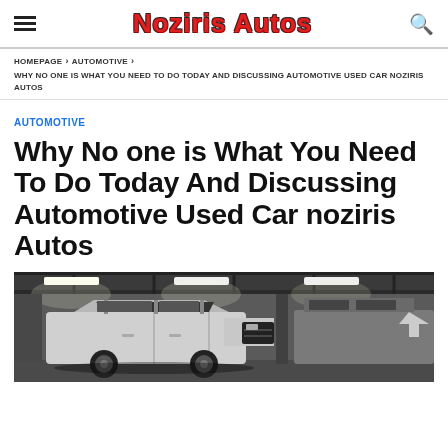Noziris Autos
HOMEPAGE › AUTOMOTIVE › WHY NO ONE IS WHAT YOU NEED TO DO TODAY AND DISCUSSING AUTOMOTIVE USED CAR NOZIRIS AUTOS
AUTOMOTIVE
Why No one is What You Need To Do Today And Discussing Automotive Used Car noziris Autos
[Figure (photo): Black and white photograph of a used car (truck/SUV) inside a covered parking garage or showroom with ceiling lights visible]